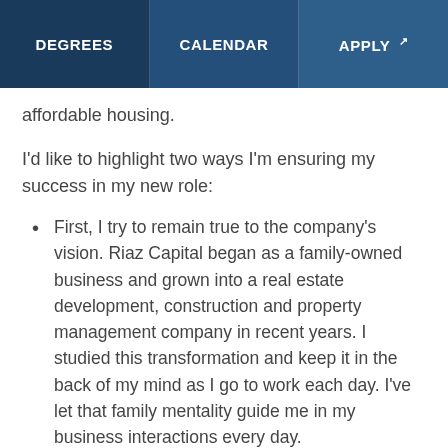DEGREES | CALENDAR | APPLY
affordable housing.
I'd like to highlight two ways I'm ensuring my success in my new role:
First, I try to remain true to the company's vision. Riaz Capital began as a family-owned business and grown into a real estate development, construction and property management company in recent years. I studied this transformation and keep it in the back of my mind as I go to work each day. I've let that family mentality guide me in my business interactions every day.